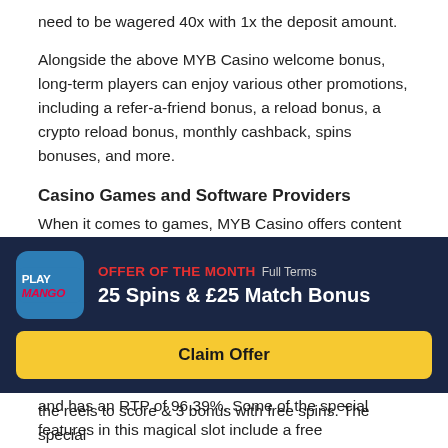need to be wagered 40x with 1x the deposit amount.
Alongside the above MYB Casino welcome bonus, long-term players can enjoy various other promotions, including a refer-a-friend bonus, a reload bonus, a crypto reload bonus, monthly cashback, spins bonuses, and more.
Casino Games and Software Providers
When it comes to games, MYB Casino offers content like video slots, table games, live casino titles, video poker, and more. All of the content available at the casino is provided by studios such as BetSoft and Nucleus Gaming.
One game available at MYB Casino is Stacked by BetSoft, which uses a 4×4 layout with 20 paylines, and has an RTP of 96.39%. Some of the special features in this magical slot include a free
[Figure (infographic): Offer banner for PlayMango: OFFER OF THE MONTH Full Terms — 25 Spins & £25 Match Bonus, with Claim Offer button]
the reels to score & 3 bonus with free spins. The special